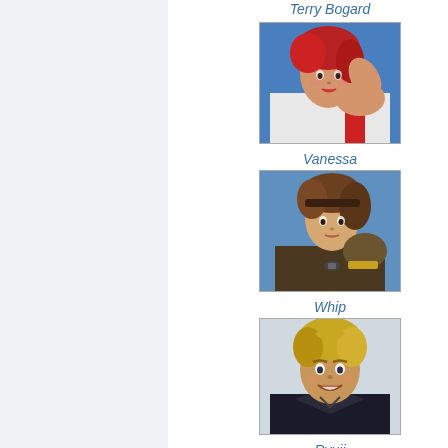Terry Bogard
[Figure (illustration): Character portrait of Vanessa - a woman with red hair in a white outfit against a blue background]
Vanessa
[Figure (illustration): Character portrait of Whip - a woman with brown hair and boxing gloves in a dark outfit]
Whip
[Figure (illustration): Character portrait of Ryuji - a man with blonde hair in a dark outfit, smiling]
Ryuji